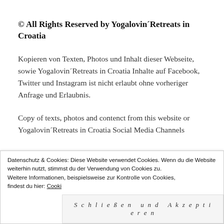© All Rights Reserved by Yogalovin´Retreats in Croatia
Kopieren von Texten, Photos und Inhalt dieser Webseite, sowie Yogalovin´Retreats in Croatia Inhalte auf Facebook, Twitter und Instagram ist nicht erlaubt ohne vorheriger Anfrage und Erlaubnis.
Copy of texts, photos and contenct from this website or Yogalovin´Retreats in Croatia Social Media Channels
Datenschutz & Cookies: Diese Website verwendet Cookies. Wenn du die Website weiterhin nutzt, stimmst du der Verwendung von Cookies zu.
Weitere Informationen, beispielsweise zur Kontrolle von Cookies, findest du hier: Cooki
Schließen und Akzeptieren